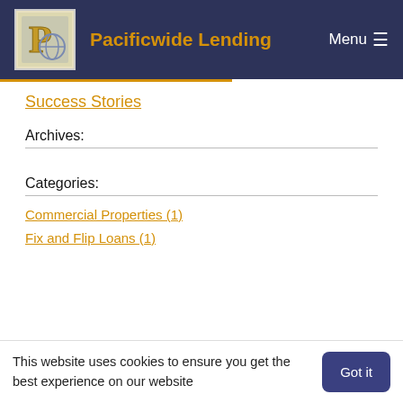Pacificwide Lending  Menu
Success Stories
Archives:
Categories:
Commercial Properties (1)
Fix and Flip Loans (1)
This website uses cookies to ensure you get the best experience on our website